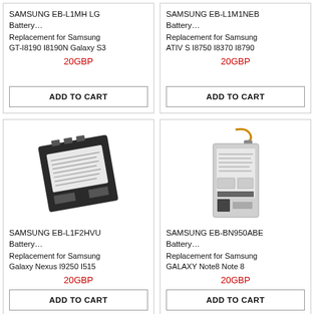[Figure (other): Top-left product card partial: SAMSUNG EB-L1MH battery for GT-I8190 I8190N Galaxy S3, price 20GBP, Add to Cart button]
[Figure (other): Top-right product card partial: SAMSUNG EB-L1M1NEB battery for ATIV S I8750 I8370 I8790, price 20GBP, Add to Cart button]
[Figure (photo): Bottom-left product: Samsung EB-L1F2HVU battery photo with dark battery pack and white label]
[Figure (photo): Bottom-right product: Samsung EB-BN950ABE battery photo, slim rectangular battery]